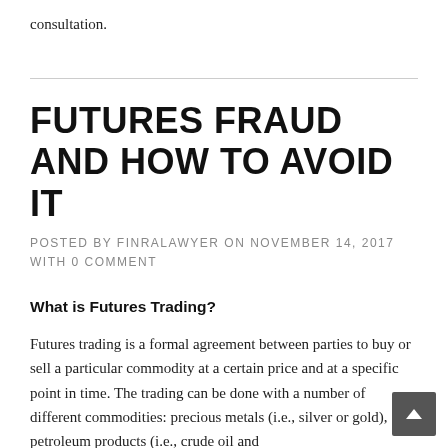consultation.
FUTURES FRAUD AND HOW TO AVOID IT
POSTED BY FINRALAWYER ON NOVEMBER 14, 2017 WITH 0 COMMENT
What is Futures Trading?
Futures trading is a formal agreement between parties to buy or sell a particular commodity at a certain price and at a specific point in time. The trading can be done with a number of different commodities: precious metals (i.e., silver or gold), petroleum products (i.e., crude oil and